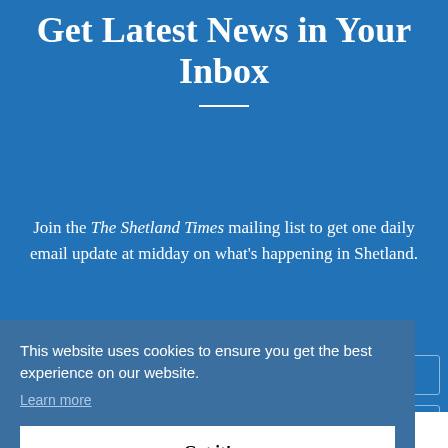Get Latest News in Your Inbox
Join the The Shetland Times mailing list to get one daily email update at midday on what's happening in Shetland.
This website uses cookies to ensure you get the best experience on our website.
Learn more
Got it!